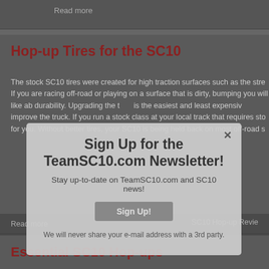Read more
Hop-up Tires for the SC10
The stock SC10 tires were created for high traction surfaces such as the stre If you are racing off-road or playing on a surface that is dirty, bumping you will like ab durability. Upgrading the tires is the easiest and least expensiv improve the truck. If you run a stock class at your local track that requires sto for you. Without better tires, your SC10 is being held back on most off-road s
Read more
SC10 Hop-up Revie
Essential SC10 Hop-ups
One of the advantages of owning an SC10 is the wide variety of hop-ups (up you are ready to upgrade your SC10 RTR or Kit, check out this list of must ha major).
Minor Hop-ups (low cost)
Sign Up for the TeamSC10.com Newsletter!
Stay up-to-date on TeamSC10.com and SC10 news!
Sign Up!
We will never share your e-mail address with a 3rd party.